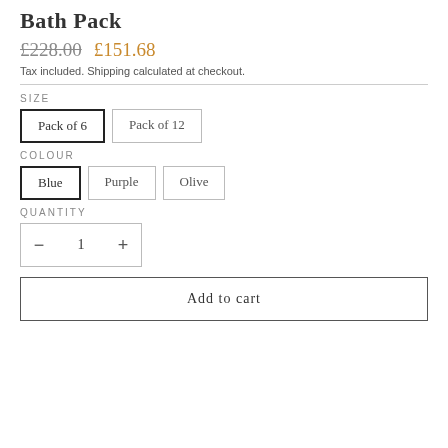Bath Pack
£228.00  £151.68
Tax included. Shipping calculated at checkout.
SIZE
Pack of 6
Pack of 12
COLOUR
Blue
Purple
Olive
QUANTITY
- 1 +
Add to cart